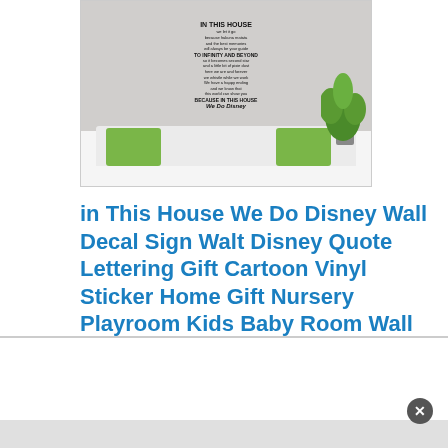[Figure (photo): Product photo showing a 'In This House We Do Disney' wall decal vinyl sticker applied to a gray wall above a white sofa with green cushions and a green plant on the right side]
in This House We Do Disney Wall Decal Sign Walt Disney Quote Lettering Gift Cartoon Vinyl Sticker Home Gift Nursery Playroom Kids Baby Room Wall Art Stencil Decor Mural Removable Poster 73me